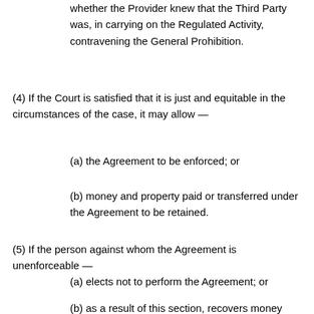whether the Provider knew that the Third Party was, in carrying on the Regulated Activity, contravening the General Prohibition.
(4) If the Court is satisfied that it is just and equitable in the circumstances of the case, it may allow —
(a) the Agreement to be enforced; or
(b) money and property paid or transferred under the Agreement to be retained.
(5) If the person against whom the Agreement is unenforceable —
(a) elects not to perform the Agreement; or
(b) as a result of this section, recovers money paid or other property transferred by him under the Agreement;